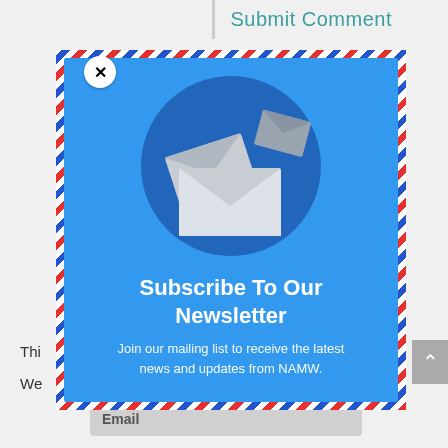Submit Comment
[Figure (illustration): Newsletter subscription modal popup with airmail-style diagonal stripe border (red, white, blue), blue background, circle with envelope icons, title 'Subscribe To Our Newsletter', and subtitle text. A white circle close button with X is in the top-left corner.]
Subscribe To Our Newsletter
Join our mailing list to receive the latest news and updates from NAMW.
Thi ce.
We ut if
Email